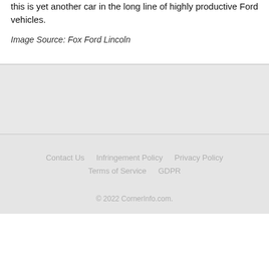this is yet another car in the long line of highly productive Ford vehicles.
Image Source: Fox Ford Lincoln
Contact Us  Infringement Policy  Privacy Policy  Terms of Service  GDPR
© 2022 CornerInfo.com.